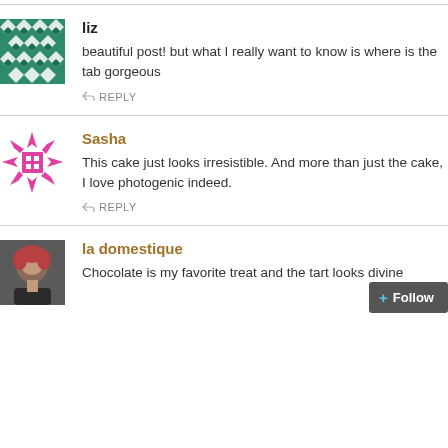[Figure (illustration): Teal geometric/diamond pattern avatar for user 'liz']
liz
beautiful post! but what I really want to know is where is the tab... gorgeous
REPLY
[Figure (illustration): Pink geometric/spiky pattern avatar for user 'Sasha']
Sasha
This cake just looks irresistible. And more than just the cake, I love ... photogenic indeed.
REPLY
[Figure (photo): Photo of a woman with short reddish hair for user 'la domestique']
la domestique
Chocolate is my favorite treat and the tart looks divine...